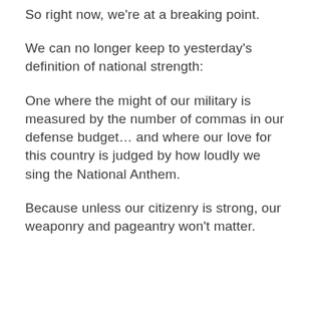So right now, we're at a breaking point.
We can no longer keep to yesterday's definition of national strength:
One where the might of our military is measured by the number of commas in our defense budget... and where our love for this country is judged by how loudly we sing the National Anthem.
Because unless our citizenry is strong, our weaponry and pageantry won't matter.